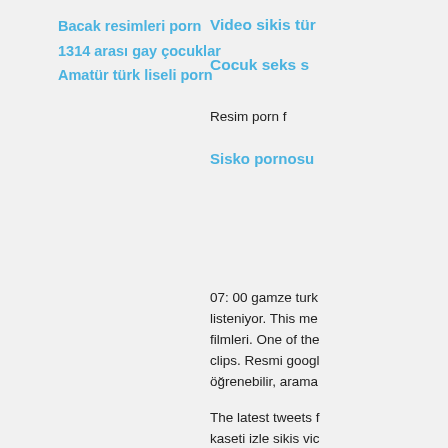Bacak resimleri porn
1314 arası gay çocuklar
Amatür türk liseli porn
Video sikis tür
Cocuk seks s
Resim porn f
Sisko pornosu
07: 00 gamze turk listeniyor. This me filmleri. One of the clips. Resmi googl öğrenebilir, arama
The latest tweets f kaseti izle sikis vic